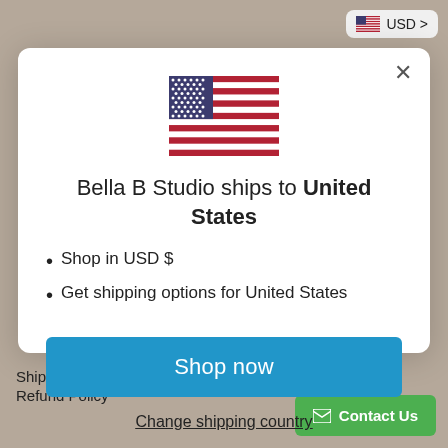[Figure (screenshot): USD currency selector button with US flag icon in top right corner]
[Figure (illustration): US flag icon displayed at top center of modal dialog]
Bella B Studio ships to United States
Shop in USD $
Get shipping options for United States
Shop now
Change shipping country
Shipping Info
Refund Policy
Contact Us